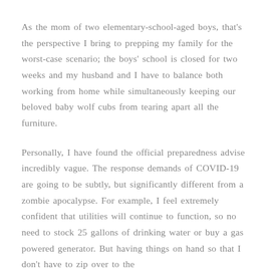As the mom of two elementary-school-aged boys, that's the perspective I bring to prepping my family for the worst-case scenario; the boys' school is closed for two weeks and my husband and I have to balance both working from home while simultaneously keeping our beloved baby wolf cubs from tearing apart all the furniture.
Personally, I have found the official preparedness advise incredibly vague. The response demands of COVID-19 are going to be subtly, but significantly different from a zombie apocalypse. For example, I feel extremely confident that utilities will continue to function, so no need to stock 25 gallons of drinking water or buy a gas powered generator. But having things on hand so that I don't have to zip over to the